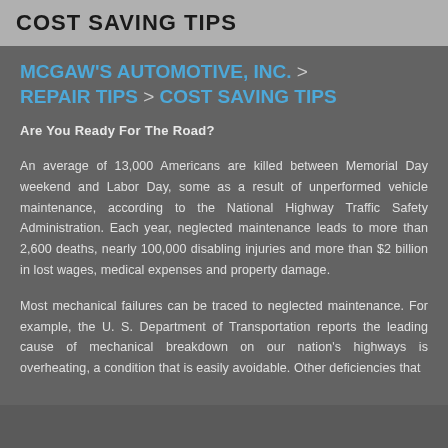COST SAVING TIPS
MCGAW'S AUTOMOTIVE, INC. > REPAIR TIPS > COST SAVING TIPS
Are You Ready For The Road?
An average of 13,000 Americans are killed between Memorial Day weekend and Labor Day, some as a result of unperformed vehicle maintenance, according to the National Highway Traffic Safety Administration. Each year, neglected maintenance leads to more than 2,600 deaths, nearly 100,000 disabling injuries and more than $2 billion in lost wages, medical expenses and property damage.
Most mechanical failures can be traced to neglected maintenance. For example, the U. S. Department of Transportation reports the leading cause of mechanical breakdown on our nation's highways is overheating, a condition that is easily avoidable. Other deficiencies that